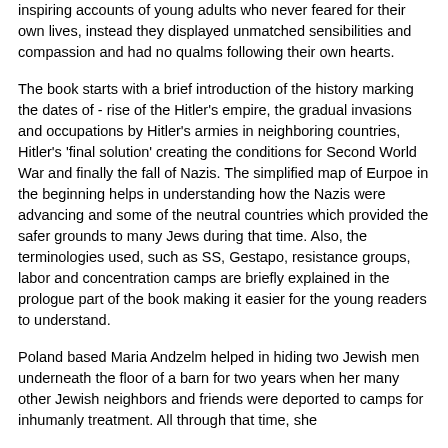inspiring accounts of young adults who never feared for their own lives, instead they displayed unmatched sensibilities and compassion and had no qualms following their own hearts.
The book starts with a brief introduction of the history marking the dates of - rise of the Hitler's empire, the gradual invasions and occupations by Hitler's armies in neighboring countries, Hitler's 'final solution' creating the conditions for Second World War and finally the fall of Nazis. The simplified map of Eurpoe in the beginning helps in understanding how the Nazis were advancing and some of the neutral countries which provided the safer grounds to many Jews during that time. Also, the terminologies used, such as SS, Gestapo, resistance groups, labor and concentration camps are briefly explained in the prologue part of the book making it easier for the young readers to understand.
Poland based Maria Andzelm helped in hiding two Jewish men underneath the floor of a barn for two years when her many other Jewish neighbors and friends were deported to camps for inhumanly treatment. All through that time, she